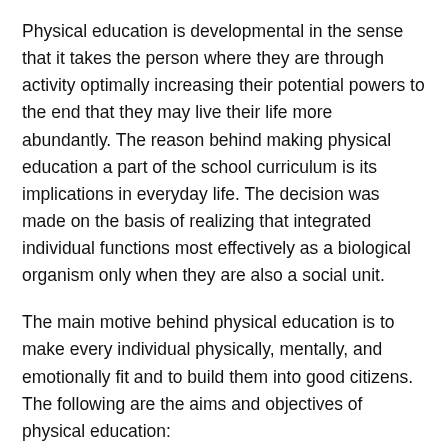Physical education is developmental in the sense that it takes the person where they are through activity optimally increasing their potential powers to the end that they may live their life more abundantly. The reason behind making physical education a part of the school curriculum is its implications in everyday life. The decision was made on the basis of realizing that integrated individual functions most effectively as a biological organism only when they are also a social unit.
The main motive behind physical education is to make every individual physically, mentally, and emotionally fit and to build them into good citizens. The following are the aims and objectives of physical education:
[Figure (other): Dark footer bar with a blue CTA button reading 'GET STARTED WITH TEACHMINT']